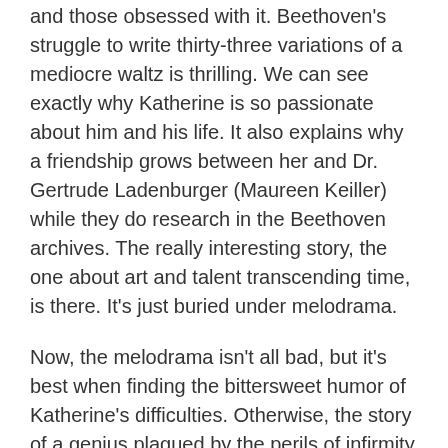and those obsessed with it. Beethoven's struggle to write thirty-three variations of a mediocre waltz is thrilling. We can see exactly why Katherine is so passionate about him and his life. It also explains why a friendship grows between her and Dr. Gertrude Ladenburger (Maureen Keiller) while they do research in the Beethoven archives. The really interesting story, the one about art and talent transcending time, is there. It's just buried under melodrama.
Now, the melodrama isn't all bad, but it's best when finding the bittersweet humor of Katherine's difficulties. Otherwise, the story of a genius plagued by the perils of infirmity has been done before and better. Here, despite Paula Plum's nuanced acting, the story drags.
Perhaps the strongest quality of the play is the way in